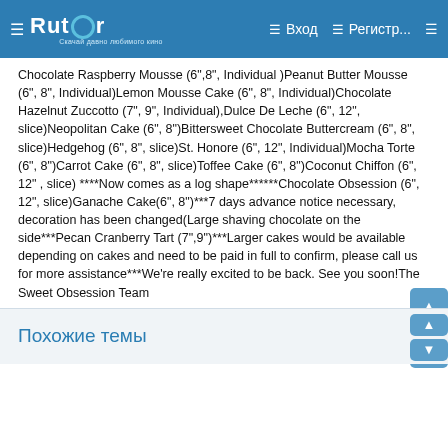Rutor — Вход — Регистр...
Chocolate Raspberry Mousse (6",8", Individual )Peanut Butter Mousse (6", 8", Individual)Lemon Mousse Cake (6", 8", Individual)Chocolate Hazelnut Zuccotto (7", 9", Individual),Dulce De Leche (6", 12", slice)Neopolitan Cake (6", 8")Bittersweet Chocolate Buttercream (6", 8", slice)Hedgehog (6", 8", slice)St. Honore (6", 12", Individual)Mocha Torte (6", 8")Carrot Cake (6", 8", slice)Toffee Cake (6", 8")Coconut Chiffon (6", 12" , slice) ****Now comes as a log shape******Chocolate Obsession (6", 12", slice)Ganache Cake(6", 8")***7 days advance notice necessary, decoration has been changed(Large shaving chocolate on the side***Pecan Cranberry Tart (7",9")***Larger cakes would be available depending on cakes and need to be paid in full to confirm, please call us for more assistance***We're really excited to be back. See you soon!The Sweet Obsession Team
Похожие темы